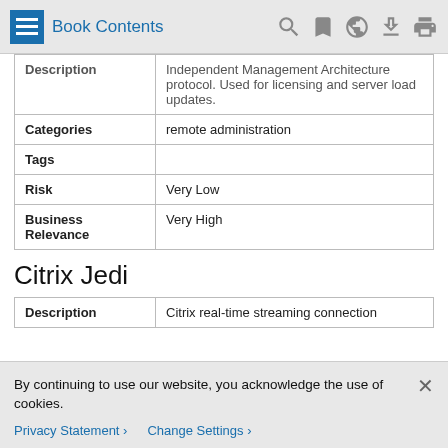Book Contents
| Description | Independent Management Architecture protocol. Used for licensing and server load updates. |
| Categories | remote administration |
| Tags |  |
| Risk | Very Low |
| Business Relevance | Very High |
Citrix Jedi
| ['Description', 'Citrix real-time streaming connection'] |
| --- |
By continuing to use our website, you acknowledge the use of cookies.
Privacy Statement > Change Settings >